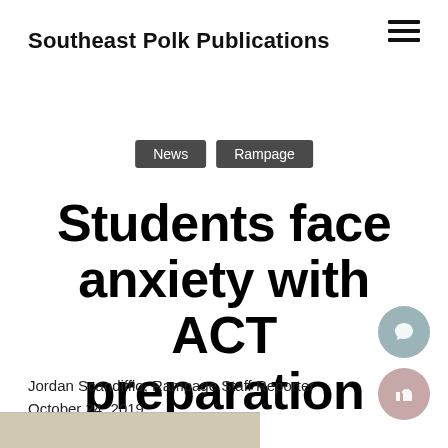Southeast Polk Publications
News
Rampage
Students face anxiety with ACT preparation
Jordan Scandiffio, Rampage Staff Reporter
October 24, 2019